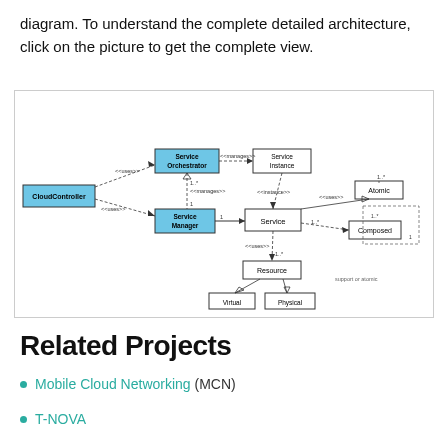diagram. To understand the complete detailed architecture, click on the picture to get the complete view.
[Figure (schematic): UML class/component diagram showing cloud service architecture with nodes: CloudController, Service Orchestrator, Service Manager, Service Instance, Service, Atomic, Composed, Resource, Virtual, Physical. Relationships shown with dashed arrows labeled <<uses>>, <<manages>>, <<instance>>, multiplicities 1..*, 1.]
Related Projects
Mobile Cloud Networking (MCN)
T-NOVA